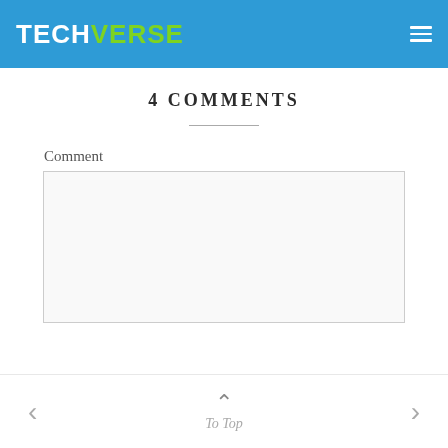TECHVERSE
4 COMMENTS
Comment
To Top